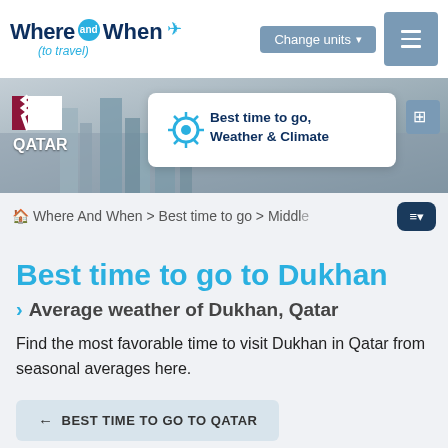[Figure (logo): Where And When (to travel) logo with airplane icon]
[Figure (screenshot): Qatar city skyline hero banner with Qatar flag, QATAR label, Best time to go Weather & Climate card, and calculator icon]
Where And When > Best time to go > Middle
Best time to go to Dukhan
Average weather of Dukhan, Qatar
Find the most favorable time to visit Dukhan in Qatar from seasonal averages here.
← BEST TIME TO GO TO QATAR